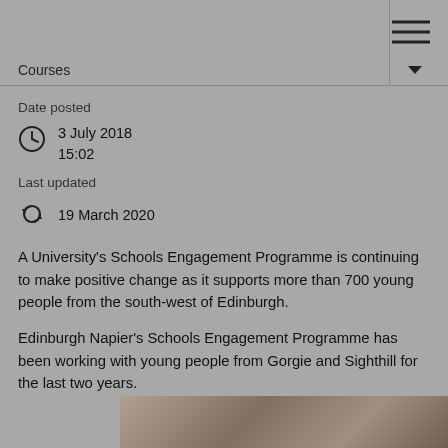Courses
Date posted
3 July 2018
15:02
Last updated
19 March 2020
A University's Schools Engagement Programme is continuing to make positive change as it supports more than 700 young people from the south-west of Edinburgh.
Edinburgh Napier's Schools Engagement Programme has been working with young people from Gorgie and Sighthill for the last two years.
[Figure (photo): Partial photo of young people, appears to be in a classroom or study setting]